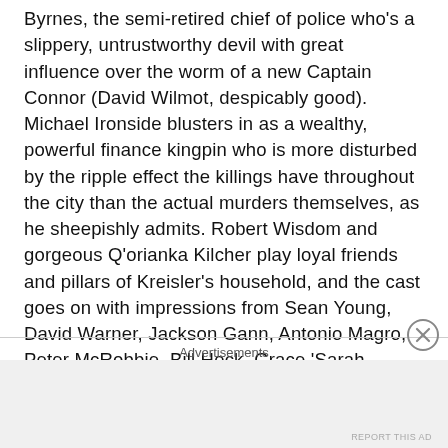Byrnes, the semi-retired chief of police who's a slippery, untrustworthy devil with great influence over the worm of a new Captain Connor (David Wilmot, despicably good). Michael Ironside blusters in as a wealthy, powerful finance kingpin who is more disturbed by the ripple effect the killings have throughout the city than the actual murders themselves, as he sheepishly admits. Robert Wisdom and gorgeous Q'orianka Kilcher play loyal friends and pillars of Kreisler's household, and the cast goes on with impressions from Sean Young, David Warner, Jackson Gann, Antonio Magro, Peter McRobbie, Bill Heck, Grace 'Sarah Palmer' Zabriskie and more. The heart of it lies with Brühl, Fanning and Evans though, who all three represent different factions of the
Advertisements